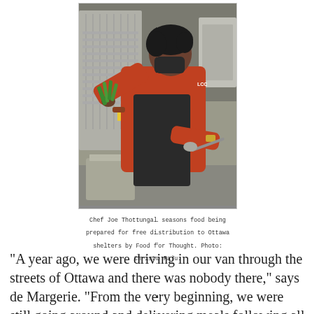[Figure (photo): Chef Joe Thottungal in a red long-sleeve shirt and black apron, wearing a mask, seasoning food in a large commercial kitchen. He is adding herbs to a large metal bowl while standing in front of industrial kitchen equipment.]
Chef Joe Thottungal seasons food being prepared for free distribution to Ottawa shelters by Food for Thought. Photo: Christo Raju.
“A year ago, we were driving in our van through the streets of Ottawa and there was nobody there,” says de Margerie. “From the very beginning, we were still going around and delivering meals following all of the protocols. None of us got sick—